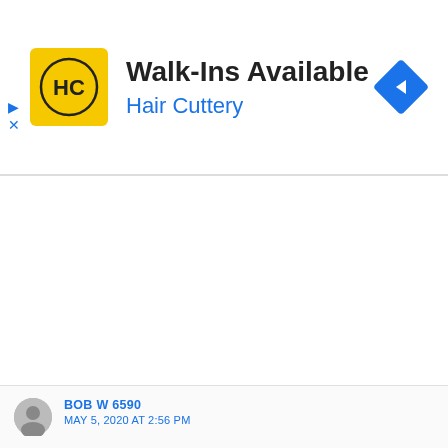[Figure (screenshot): Hair Cuttery advertisement banner: yellow square logo with HC initials, text 'Walk-Ins Available' in bold black, 'Hair Cuttery' in blue, and a blue diamond navigation arrow icon on the right.]
BOB W 6590
MAY 5, 2020 AT 2:56 PM
This does not work if you have already installed iTunes thru Win 10 Store. You can delete the Win 10 store version, but